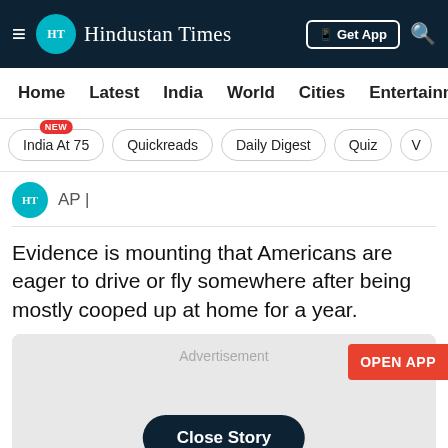Hindustan Times
Home  Latest  India  World  Cities  Entertainment
India At 75 NEW
Quickreads
Daily Digest
Quiz
AP |
Evidence is mounting that Americans are eager to drive or fly somewhere after being mostly cooped up at home for a year.
[Figure (other): Advertisement banner with Close Story button and OPEN APP button]